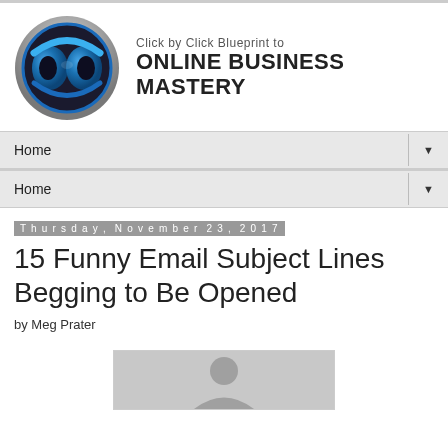[Figure (logo): Click by Click Blueprint to Online Business Mastery logo with blue infinity-style icon and silver circular frame]
Home
Home
Thursday, November 23, 2017
15 Funny Email Subject Lines Begging to Be Opened
by Meg Prater
[Figure (photo): Partial photo of a person, cropped at bottom of page]